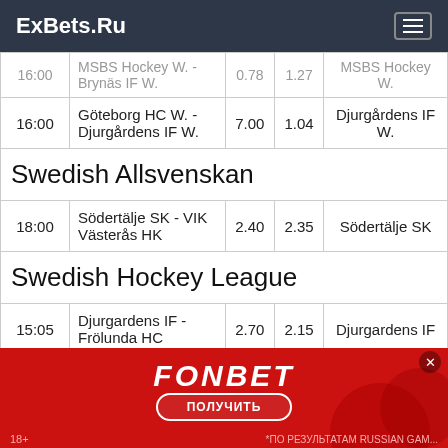ExBets.Ru
| Time | Match | Odds1 | Odds2 | Winner |
| --- | --- | --- | --- | --- |
| 16:00 (partial/cut) | MSBS Hockey W. - Brynäs IF W. (partial) | 0.78 (cut) | 1.27 (cut) | MSBS Hockey W. |
| 16:00 | Göteborg HC W. - Djurgårdens IF W. | 7.00 | 1.04 | Djurgårdens IF W. |
| Swedish Allsvenskan |  |  |  |  |
| 18:00 | Södertälje SK - VIK Västerås HK | 2.40 | 2.35 | Södertälje SK |
| Swedish Hockey League |  |  |  |  |
| 15:05 | Djurgardens IF - Frölunda HC | 2.70 | 2.15 | Djurgardens IF |
[Figure (other): FONBET advertisement banner with red background, FONBET logo, ПОЛУЧИТЬ button, close button, coins/phone imagery, 18+ and Russian disclaimer text]